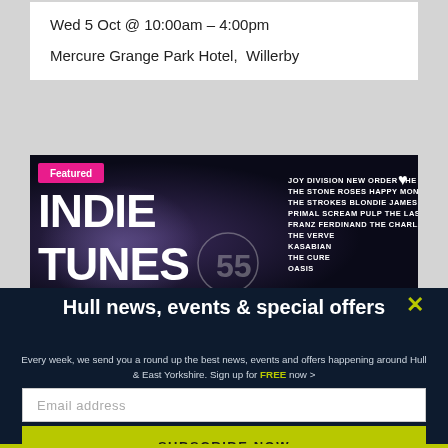Wed 5 Oct @ 10:00am – 4:00pm
Mercure Grange Park Hotel,  Willerby
[Figure (illustration): Indie Tunes event banner with dark background showing large white 'INDIE TUNES' text and list of band names including Joy Division, New Order, The Smiths, The Stone Roses, Happy Mondays, The Strokes, Blondie, James, Blur, Primal Scream, Pulp, The Las, Franz Ferdinand, The Charlatans, The Verve, Kasabian, The Cure, Oasis. Featured label in pink top-left corner.]
Hull news, events & special offers
Every week, we send you a round up the best news, events and offers happening around Hull & East Yorkshire. Sign up for FREE now >
Email address
SUBSCRIBE NOW